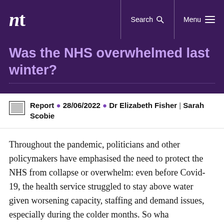nt
Was the NHS overwhelmed last winter?
Report • 28/06/2022 • Dr Elizabeth Fisher | Sarah Scobie
Throughout the pandemic, politicians and other policymakers have emphasised the need to protect the NHS from collapse or overwhelm: even before Covid-19, the health service struggled to stay above water given worsening capacity, staffing and demand issues, especially during the colder months. So wha